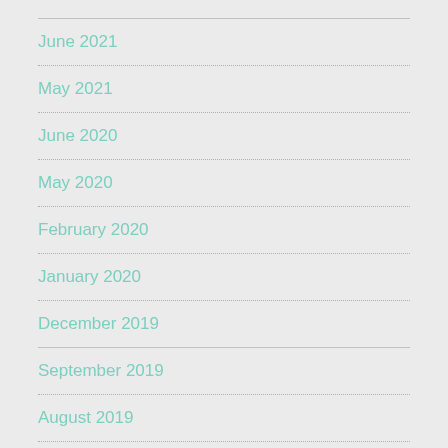June 2021
May 2021
June 2020
May 2020
February 2020
January 2020
December 2019
September 2019
August 2019